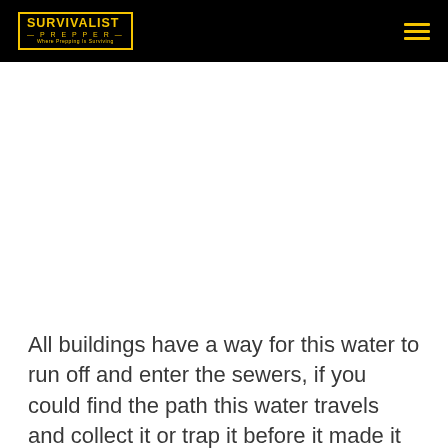SURVIVALIST PREPPER — Where Prepping Is Surviving
[Figure (other): Advertisement / blank white area below header]
All buildings have a way for this water to run off and enter the sewers, if you could find the path this water travels and collect it or trap it before it made it down into the sewers you